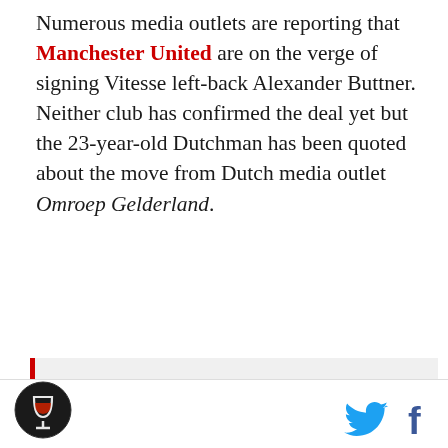Numerous media outlets are reporting that Manchester United are on the verge of signing Vitesse left-back Alexander Buttner. Neither club has confirmed the deal yet but the 23-year-old Dutchman has been quoted about the move from Dutch media outlet Omroep Gelderland.
"This is truly a dream come true. It all went very quickly and I am of course very happy." - Buttner
To be quite honest, I know very little about Buttner. He has played in the Eredivisie since
[Figure (logo): Circular logo with wine glass icon, bottom left of page footer]
[Figure (logo): Twitter bird icon and Facebook f icon in page footer, bottom right]